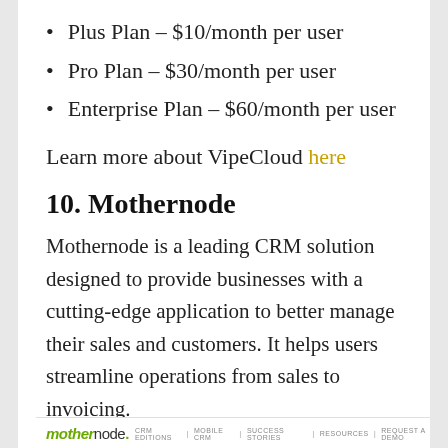Plus Plan – $10/month per user
Pro Plan – $30/month per user
Enterprise Plan – $60/month per user
Learn more about VipeCloud here
10. Mothernode
Mothernode is a leading CRM solution designed to provide businesses with a cutting-edge application to better manage their sales and customers. It helps users streamline operations from sales to invoicing.
[Figure (logo): Mothernode logo with navigation links: CRM EDITIONS | MOBILE CRM | SUCCESS STORIES | RESOURCES | REQUEST A DEMO]